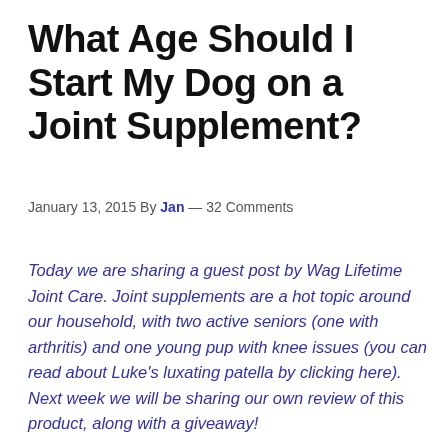What Age Should I Start My Dog on a Joint Supplement?
January 13, 2015 By Jan — 32 Comments
Today we are sharing a guest post by Wag Lifetime Joint Care.  Joint supplements are a hot topic around our household, with two active seniors (one with arthritis) and one young pup with knee issues (you can read about Luke's luxating patella by clicking here).  Next week we will be sharing our own review of this product, along with a giveaway!